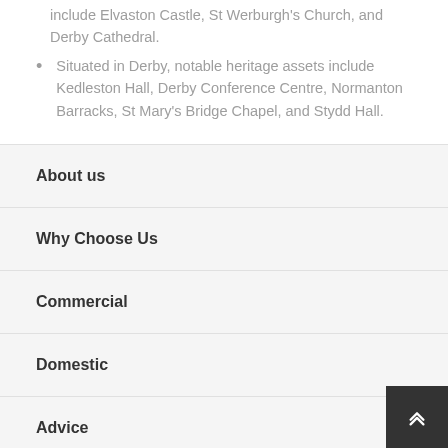include Elvaston Castle, St Werburgh's Church, and Derby Cathedral.
Situated in Derby, notable heritage assets include Kedleston Hall, Derby Conference Centre, Normanton Barracks, St Mary's Bridge Chapel, and Stydd Hall.
About us
Why Choose Us
Commercial
Domestic
Advice